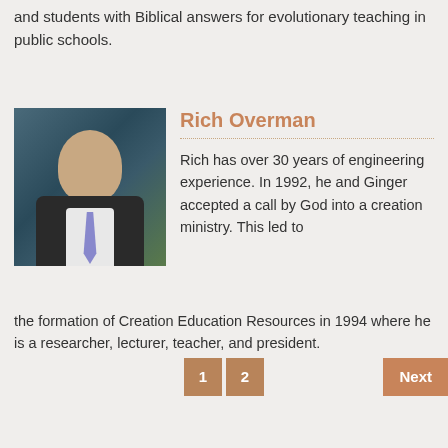and students with Biblical answers for evolutionary teaching in public schools.
Rich Overman
[Figure (photo): Headshot of Rich Overman, a smiling middle-aged bald man in a dark suit with a striped tie, against a dark blue-green background]
Rich has over 30 years of engineering experience. In 1992, he and Ginger accepted a call by God into a creation ministry. This led to the formation of Creation Education Resources in 1994 where he is a researcher, lecturer, teacher, and president.
1  2  Next